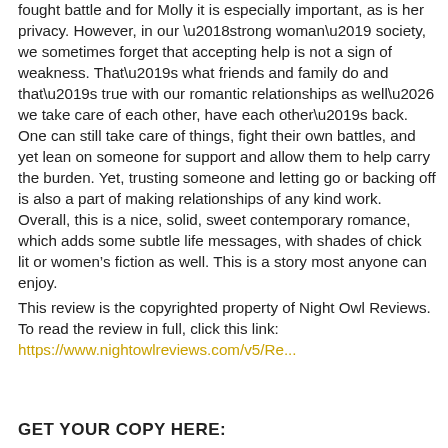fought battle and for Molly it is especially important, as is her privacy. However, in our ‘strong woman’ society, we sometimes forget that accepting help is not a sign of weakness. That’s what friends and family do and that’s true with our romantic relationships as well… we take care of each other, have each other’s back. One can still take care of things, fight their own battles, and yet lean on someone for support and allow them to help carry the burden. Yet, trusting someone and letting go or backing off is also a part of making relationships of any kind work.
Overall, this is a nice, solid, sweet contemporary romance, which adds some subtle life messages, with shades of chick lit or women’s fiction as well. This is a story most anyone can enjoy.
This review is the copyrighted property of Night Owl Reviews. To read the review in full, click this link: https://www.nightowlreviews.com/v5/Re...
GET YOUR COPY HERE: